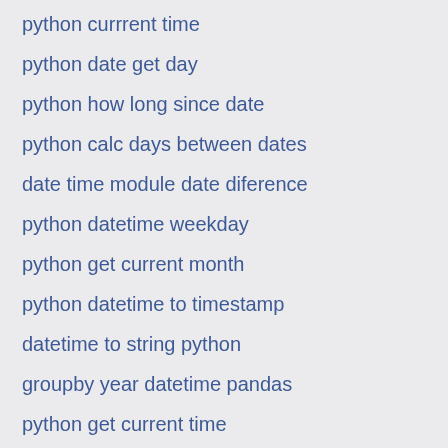python currrent time
python date get day
python how long since date
python calc days between dates
date time module date diference
python datetime weekday
python get current month
python datetime to timestamp
datetime to string python
groupby year datetime pandas
python get current time
get date and time in python
python first day of last month
python how to sort by date